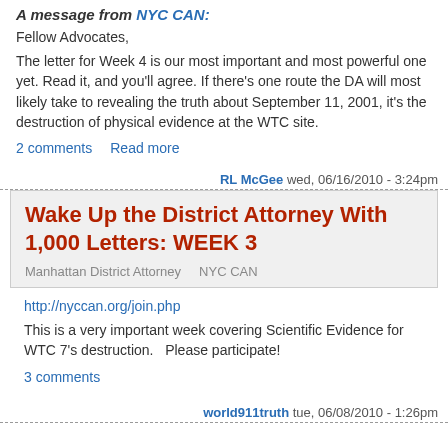A message from NYC CAN:
Fellow Advocates,
The letter for Week 4 is our most important and most powerful one yet. Read it, and you'll agree. If there's one route the DA will most likely take to revealing the truth about September 11, 2001, it's the destruction of physical evidence at the WTC site.
2 comments   Read more
RL McGee wed, 06/16/2010 - 3:24pm
Wake Up the District Attorney With 1,000 Letters: WEEK 3
Manhattan District Attorney   NYC CAN
http://nyccan.org/join.php
This is a very important week covering Scientific Evidence for WTC 7's destruction.   Please participate!
3 comments
world911truth tue, 06/08/2010 - 1:26pm